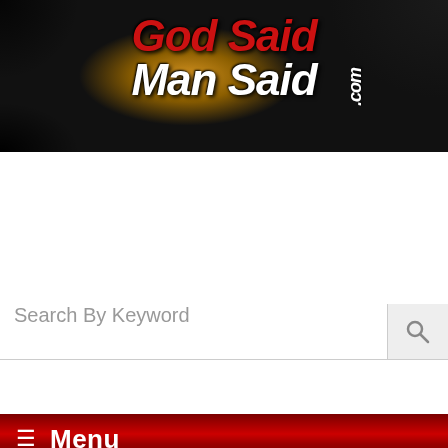[Figure (logo): GodSaidManSaid.com website header logo with red 'God Said' and white 'Man Said' text on dark background with golden glow]
Search By Keyword
≡  Menu
God Said Man Said
[Figure (screenshot): Video thumbnail for 'Undeniable Proof—Every Jot & Every Tittle (XXXV)' showing GodSaidManSaid.com logo with play button overlay]